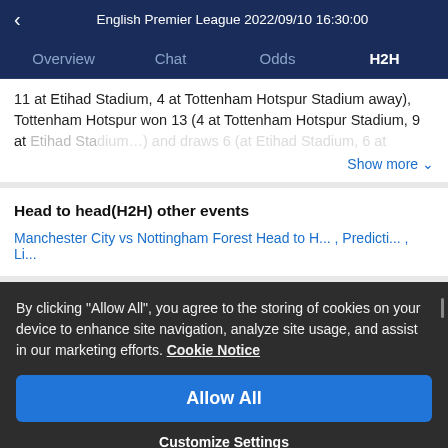< English Premier League 2022/09/10 16:30:00
Overview  Chat  Odds  H2H
11 at Etihad Stadium, 4 at Tottenham Hotspur Stadium away), Tottenham Hotspur won 13 (4 at Tottenham Hotspur Stadium, 9 at Etihad Sta...
Show more ∨
Head to head(H2H) other events
Manchester City vs Nottingham Forest Head to H... , Predicti... , Li...
By clicking "Allow All", you agree to the storing of cookies on your device to enhance site navigation, analyze site usage, and assist in our marketing efforts. Cookie Notice
Allow All
Customize Settings